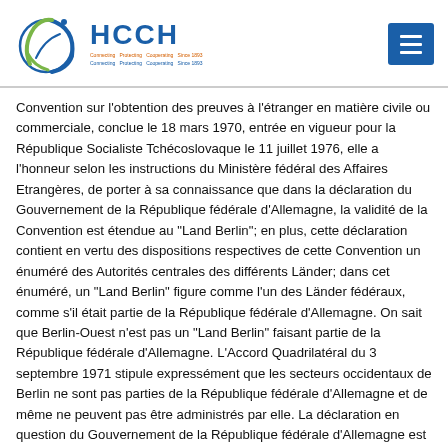[Figure (logo): HCCH (Hague Conference on Private International Law) logo with globe/swoosh graphic and tagline]
Convention sur l'obtention des preuves à l'étranger en matière civile ou commerciale, conclue le 18 mars 1970, entrée en vigueur pour la République Socialiste Tchécoslovaque le 11 juillet 1976, elle a l'honneur selon les instructions du Ministère fédéral des Affaires Etrangères, de porter à sa connaissance que dans la déclaration du Gouvernement de la République fédérale d'Allemagne, la validité de la Convention est étendue au "Land Berlin"; en plus, cette déclaration contient en vertu des dispositions respectives de cette Convention un énuméré des Autorités centrales des différents Länder; dans cet énuméré, un "Land Berlin" figure comme l'un des Länder fédéraux, comme s'il était partie de la République fédérale d'Allemagne. On sait que Berlin-Ouest n'est pas un "Land Berlin" faisant partie de la République fédérale d'Allemagne. L'Accord Quadrilatéral du 3 septembre 1971 stipule expressément que les secteurs occidentaux de Berlin ne sont pas parties de la République fédérale d'Allemagne et de même ne peuvent pas être administrés par elle. La déclaration en question du Gouvernement de la République fédérale d'Allemagne est par conséquent en